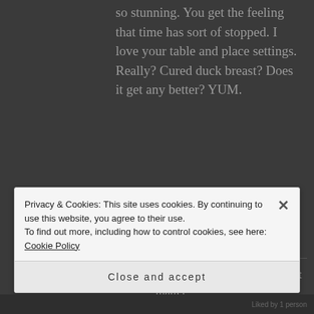so stunning. You get the feeling that time has sort of stopped. I love your table and place settings. Really? Cured duck breast? Does it get any better? YUM.
[Figure (illustration): Circular avatar with white background showing a decorative black rooster/weathervane illustration. Small grey user icon overlay in top-left of circle.]
MY FRENCH HEAVEN says: Reply
March 27, 2014 at 8:21 pm
I love duck so much. It doesn't matter
Privacy & Cookies: This site uses cookies. By continuing to use this website, you agree to their use.
To find out more, including how to control cookies, see here: Cookie Policy
Close and accept